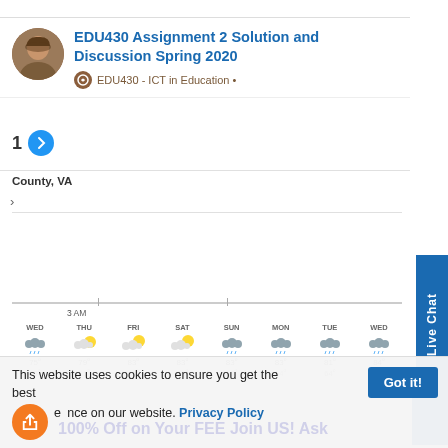EDU430 Assignment 2 Solution and Discussion Spring 2020
EDU430 - ICT in Education •
1 →
County, VA
[Figure (screenshot): Weather widget showing weekly forecast for County, VA. Days shown: WED, THU, FRI, SAT, SUN, MON, TUE, WED with weather icons (rain, partly cloudy, cloudy) and temperature highs/lows around 75-84°F and 61-64°F.]
This website uses cookies to ensure you get the best experience on our website. Privacy Policy
Got it!
100% Off on Your FEE Join US! Ask